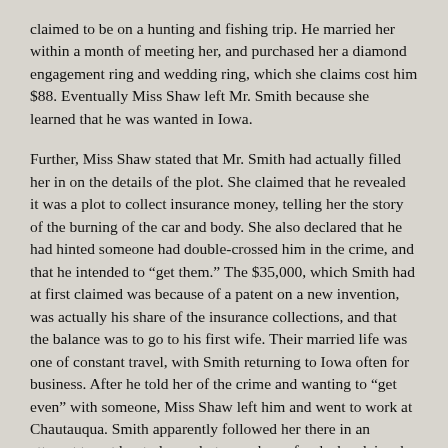claimed to be on a hunting and fishing trip. He married her within a month of meeting her, and purchased her a diamond engagement ring and wedding ring, which she claims cost him $88. Eventually Miss Shaw left Mr. Smith because she learned that he was wanted in Iowa.
Further, Miss Shaw stated that Mr. Smith had actually filled her in on the details of the plot. She claimed that he revealed it was a plot to collect insurance money, telling her the story of the burning of the car and body. She also declared that he had hinted someone had double-crossed him in the crime, and that he intended to “get them.” The $35,000, which Smith had at first claimed was because of a patent on a new invention, was actually his share of the insurance collections, and that the balance was to go to his first wife. Their married life was one of constant travel, with Smith returning to Iowa often for business. After he told her of the crime and wanting to “get even” with someone, Miss Shaw left him and went to work at Chautauqua. Smith apparently followed her there in an attempt to get her to leave, but upon her refusal, she claims he said, “It doesn’t make a difference I’ll go another hundred miles and get another woman.” This was the last she had seen of him until September 3rd at the Statehouse.